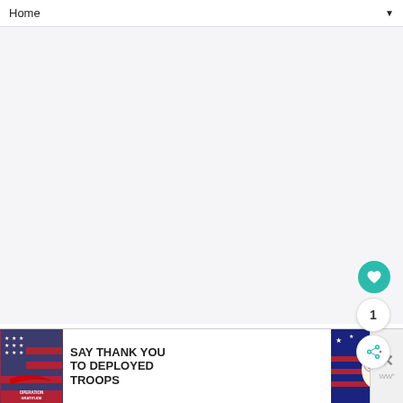Home ▼
[Figure (screenshot): Large blank/empty whitish-grey content area below the navigation bar, likely a loading or empty web page section.]
[Figure (infographic): Floating teal circular button with white heart icon (favorite/like button), a white circular button with number '1', and a white circular share button with share icon.]
[Figure (photo): Advertisement banner for Operation Gratitude: 'SAY THANK YOU TO DEPLOYED TROOPS' with American flag styling, Operation Gratitude logo on the left and patriotic imagery on the right. Contains a close (X) button.]